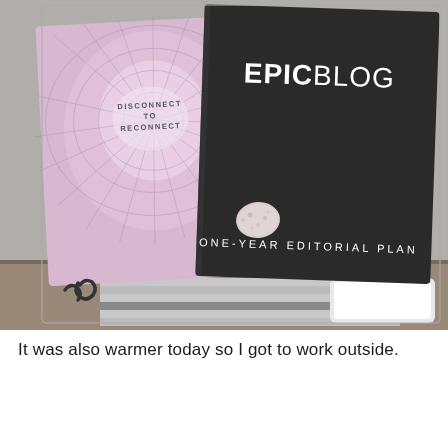[Figure (photo): A photograph of two items laid on a table outdoors. On the right is a black notebook/planner with 'EPICBLOG' printed in white text (EPIC in bold, BLOG in regular weight) near the top, and 'ONE-YEAR EDITORIAL PLAN' printed along the bottom edge. On the left is a pink/lavender book or card with geometric line art and the text 'DISCONNECT TO RECONNECT' in the center. A small speckled white stone sits between the two items. Underneath is a striped towel and some other items on a wooden surface.]
It was also warmer today so I got to work outside.